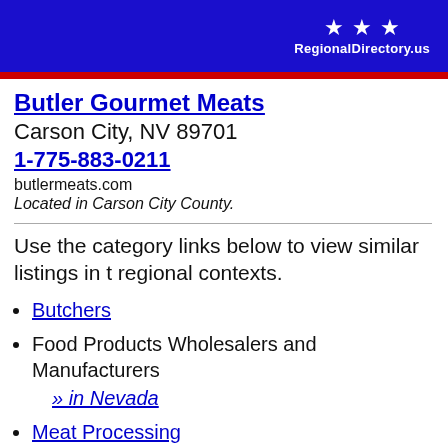RegionalDirectory.us
Butler Gourmet Meats
Carson City, NV 89701
1-775-883-0211
butlermeats.com
Located in Carson City County.
Use the category links below to view similar listings in the regional contexts.
Butchers
Food Products Wholesalers and Manufacturers » in Nevada
Meat Processing
Meats (Retail) » in Nevada
Meats